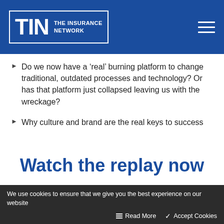[Figure (logo): TIN - The Insurance Network logo on blue background with hamburger menu icon]
Do we now have a ‘real’ burning platform to change traditional, outdated processes and technology? Or has that platform just collapsed leaving us with the wreckage?
Why culture and brand are the real keys to success
Watch the replay now
We use cookies to ensure that we give you the best experience on our website
Read More
Accept Cookies